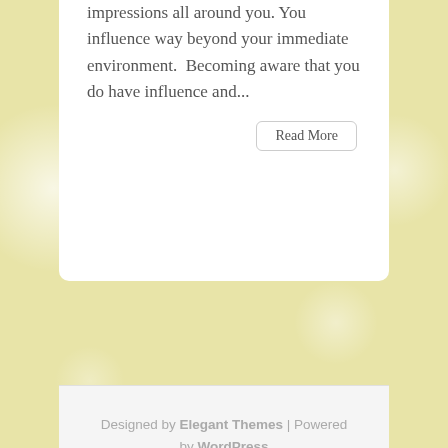impressions all around you. You influence way beyond your immediate environment.  Becoming aware that you do have influence and...
Read More
Designed by Elegant Themes | Powered by WordPress